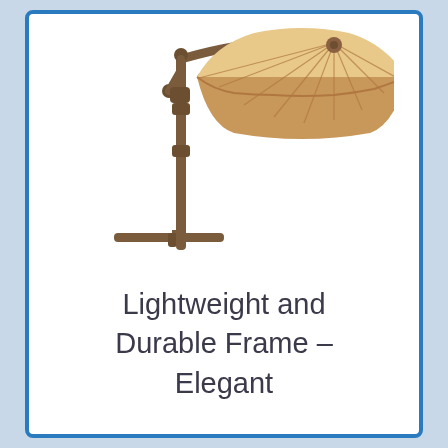[Figure (photo): A cantilever patio umbrella with a beige/tan canopy on a dark brown metal pole and cross-base stand. The umbrella arm extends from the top of the pole and curves to hold the canopy offset to the side.]
Lightweight and Durable Frame – Elegant